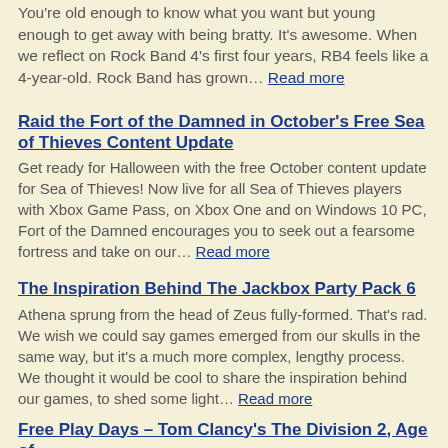You're old enough to know what you want but young enough to get away with being bratty. It's awesome. When we reflect on Rock Band 4's first four years, RB4 feels like a 4-year-old. Rock Band has grown… Read more
Raid the Fort of the Damned in October's Free Sea of Thieves Content Update
Get ready for Halloween with the free October content update for Sea of Thieves! Now live for all Sea of Thieves players with Xbox Game Pass, on Xbox One and on Windows 10 PC, Fort of the Damned encourages you to seek out a fearsome fortress and take on our… Read more
The Inspiration Behind The Jackbox Party Pack 6
Athena sprung from the head of Zeus fully-formed. That's rad. We wish we could say games emerged from our skulls in the same way, but it's a much more complex, lengthy process. We thought it would be cool to share the inspiration behind our games, to shed some light… Read more
Free Play Days – Tom Clancy's The Division 2, Age of